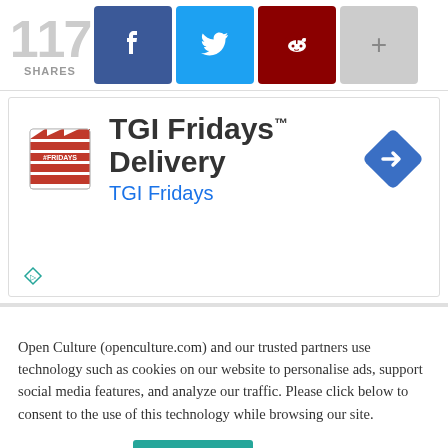[Figure (infographic): Social share bar showing 117 shares with Facebook (blue), Twitter (cyan), Reddit (dark red), and plus (gray) buttons]
[Figure (infographic): TGI Fridays Delivery advertisement with TGI Fridays logo, text 'TGI Fridays™ Delivery' and blue link 'TGI Fridays', with a blue diamond turn-right arrow icon]
Open Culture (openculture.com) and our trusted partners use technology such as cookies on our website to personalise ads, support social media features, and analyze our traffic. Please click below to consent to the use of this technology while browsing our site.
Cookie settings | ACCEPT